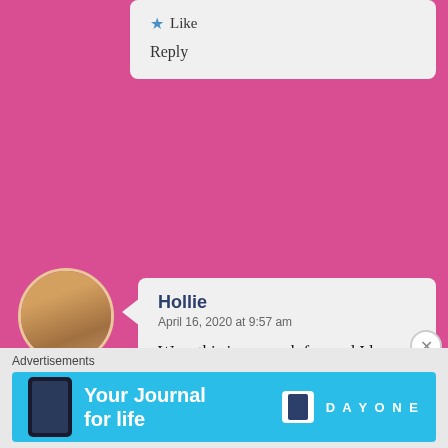Like
Reply
Hollie
April 16, 2020 at 9:57 am
Wow this is so much fun and I love the simplicity. I'm going to try making this myself, I have so many different t-shirts I could use!
Liked by 1 person
Reply
Advertisements
[Figure (screenshot): Day One app advertisement banner with cyan background showing 'Your Journal for life' text and Day One logo]